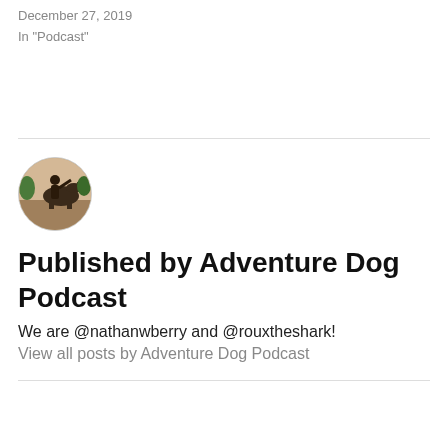December 27, 2019
In "Podcast"
[Figure (photo): Circular avatar photo of a person with a horse or large animal outdoors, used as author profile image for Adventure Dog Podcast]
Published by Adventure Dog Podcast
We are @nathanwberry and @rouxtheshark!
View all posts by Adventure Dog Podcast